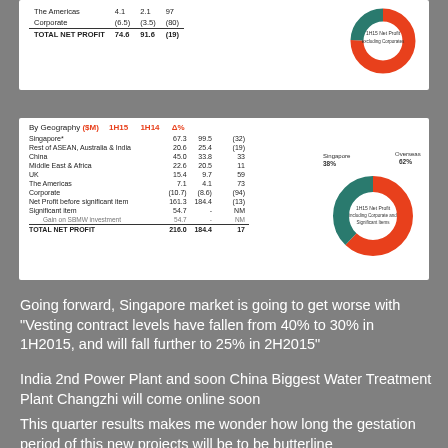|  | 1H15 | 1H14 | Δ% |
| --- | --- | --- | --- |
| The Americas | 4.1 | 2.1 | 97 |
| Corporate | (6.5) | (3.5) | (80) |
| TOTAL NET PROFIT | 74.6 | 91.6 | (19) |
[Figure (donut-chart): Donut chart showing Singapore vs Overseas split, orange and teal colors]
| By Geography ($M) | 1H15 | 1H14 | Δ% |
| --- | --- | --- | --- |
| Singapore* | 67.3 | 99.5 | (32) |
| Rest of ASEAN, Australia & India | 20.6 | 25.4 | (19) |
| China | 45.0 | 33.8 | 33 |
| Middle East & Africa | 22.6 | 20.5 | 11 |
| UK | 15.4 | 9.7 | 59 |
| The Americas | 7.1 | 4.1 | 73 |
| Corporate | (10.7) | (8.6) | (94) |
| Net Profit before significant item | 161.3 | 184.4 | (13) |
| Significant item | 54.7 | - | NM |
| Gain on SBMW investment | 54.7 | - | NM |
| TOTAL NET PROFIT | 216.0 | 184.4 | 17 |
[Figure (donut-chart): Donut chart: Singapore 38%, Overseas 62%, orange and teal]
Going forward, Singapore market is going to get worse with "Vesting contract levels have fallen from 40% to 30% in 1H2015, and will fall further to 25% in 2H2015"
India 2nd Power Plant and soon China Biggest Water Treatment Plant Changzhi will come online soon
This quarter results makes me wonder how long the gestation period of this new projects will be to be butterline